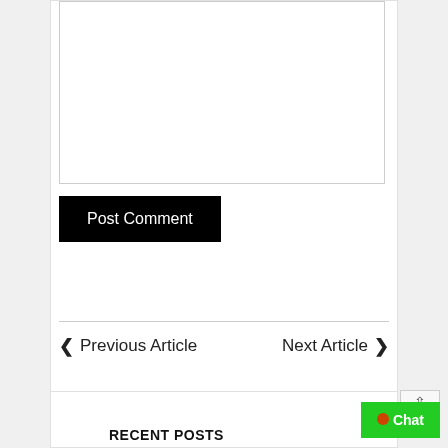[Figure (screenshot): A comment textarea input box with a resize handle in the bottom right corner]
Post Comment
Previous Article
Next Article
RECENT POSTS
Chat